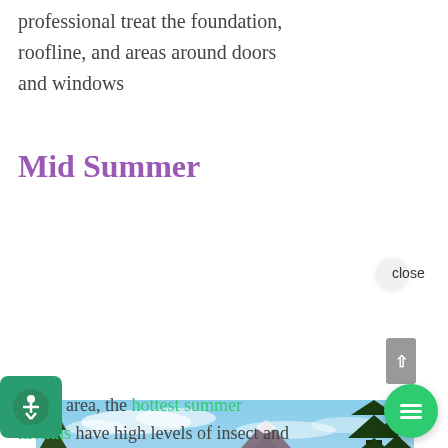professional treat the foundation, roofline, and areas around doors and windows
Mid Summer
[Figure (photo): Mountain landscape with blue sky, pine trees framing the scene, and a lake reflection. A chat bubble overlay reads 'Hi there, have a question? Text us here.' with a close button and green chat icon.]
In our area, the hottest summer months have high levels of insect and